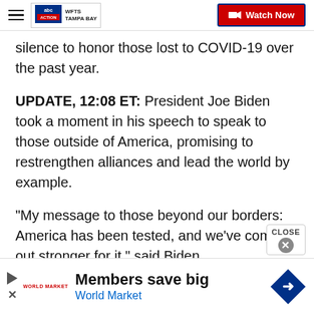WFTS Tampa Bay - ABC Action News - Watch Now
silence to honor those lost to COVID-19 over the past year.
UPDATE, 12:08 ET: President Joe Biden took a moment in his speech to speak to those outside of America, promising to restrengthen alliances and lead the world by example.
"My message to those beyond our borders: America has been tested, and we've come out stronger for it," said Biden.
UPDATE, 12 ET: President Joe Biden...
[Figure (other): World Market advertisement banner with play button, logo, headline 'Members save big', subtext 'World Market', and a blue diamond-shaped navigation icon]